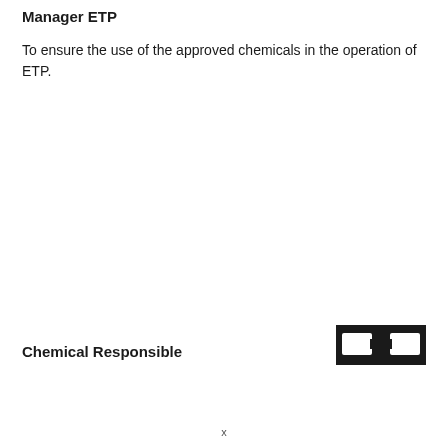Manager ETP
To ensure the use of the approved chemicals in the operation of ETP.
Chemical Responsible
[Figure (other): Signature block — dark rectangular badge/stamp icon representing a signature or approval mark]
x